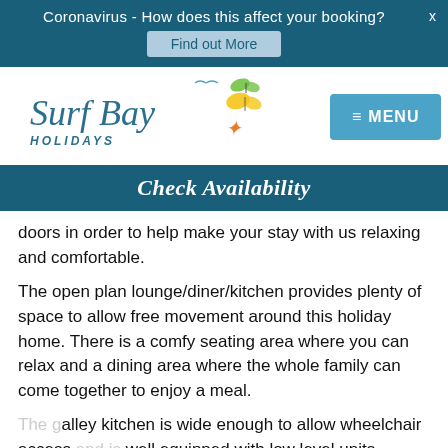Coronavirus - How does this affect your booking?   X
Find out More
[Figure (logo): Surf Bay Holidays logo with butterfly and star decorations, and a blue MENU button]
Check Availability
doors in order to help make your stay with us relaxing and comfortable.
The open plan lounge/diner/kitchen provides plenty of space to allow free movement around this holiday home. There is a comfy seating area where you can relax and a dining area where the whole family can come together to enjoy a meal.
The galley kitchen is wide enough to allow wheelchair access and is well equipped with low level units, sockets, switches and appliance controls. There is also a cooker, fridge, toaster, microwave and an ample supply of utensils & cutlery.